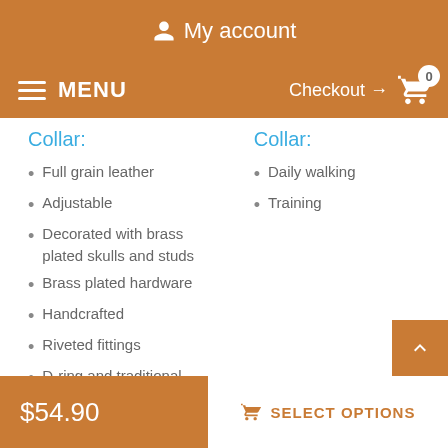My account
MENU  Checkout → 0
Collar:
Full grain leather
Adjustable
Decorated with brass plated skulls and studs
Brass plated hardware
Handcrafted
Riveted fittings
D-ring and traditional buckle
Collar:
Daily walking
Training
Sizes available:
Available colors:
$54.90  SELECT OPTIONS